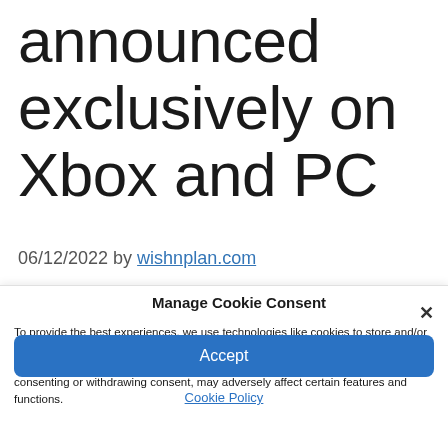announced exclusively on Xbox and PC
06/12/2022 by wishnplan.com
Manage Cookie Consent
To provide the best experiences, we use technologies like cookies to store and/or access device information. Consenting to these technologies will allow us to process data such as browsing behavior or unique IDs on this site. Not consenting or withdrawing consent, may adversely affect certain features and functions.
Accept
Cookie Policy